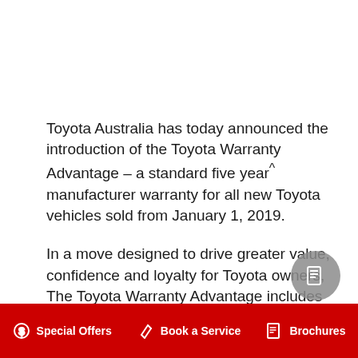Toyota Australia has today announced the introduction of the Toyota Warranty Advantage – a standard five year^ manufacturer warranty for all new Toyota vehicles sold from January 1, 2019.
In a move designed to drive greater value, confidence and loyalty for Toyota owners, The Toyota Warranty Advantage includes unlimited kilometres for private buyers and 160,000km for vehicles used for commercial purposes.
The new five-year protection and other benefits apply to all models across the range, from the nimble Yaris to the
Special Offers   Book a Service   Brochures